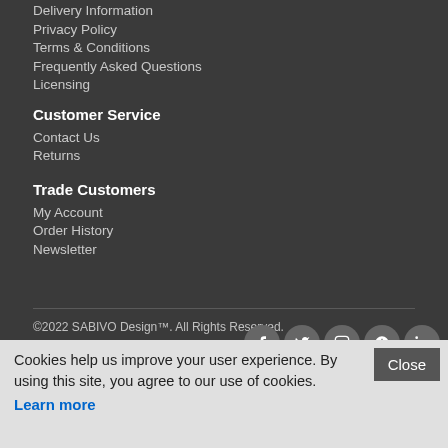Delivery Information
Privacy Policy
Terms & Conditions
Frequently Asked Questions
Licensing
Customer Service
Contact Us
Returns
Trade Customers
My Account
Order History
Newsletter
©2022 SABIVO Design™. All Rights Reserved.
Company No: 7938462443
VAT No: GB172329412
Cookies help us improve your user experience. By using this site, you agree to our use of cookies.
Learn more